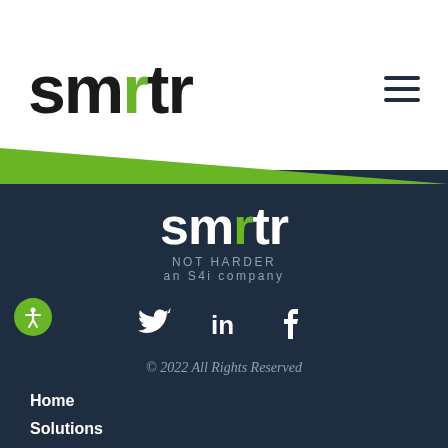[Figure (logo): smrtr logo in black with green r, top-left header area]
[Figure (other): Hamburger menu icon (three horizontal lines), top-right header area]
[Figure (logo): smrtr logo in white with green r on dark navy background, footer center]
NOT HARDER
an S4i company
[Figure (other): Social media icons: Twitter bird, LinkedIn 'in', Facebook 'f' in white on dark background]
© 2022 All Rights Reserved
Home
Solutions